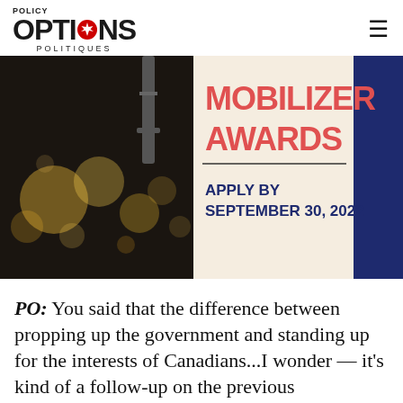POLICY OPTIONS POLITIQUES
[Figure (photo): Banner image showing an awards advertisement with bokeh light background. Text reads 'MOBILIZER AWARDS' in red/coral on a light background, with 'APPLY BY SEPTEMBER 30, 2022' in dark navy bold text. Right side has a dark blue panel.]
PO: You said that the difference between propping up the government and standing up for the interests of Canadians...I wonder — it's kind of a follow-up on the previous